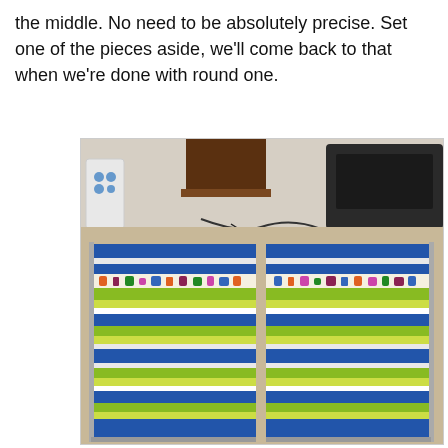the middle. No need to be absolutely precise. Set one of the pieces aside, we'll come back to that when we're done with round one.
[Figure (photo): Two pieces of a colorful striped blanket/mat (blue, green, yellow, white stripes with animal print border) laid flat on a carpet floor side by side, with household furniture visible in the background.]